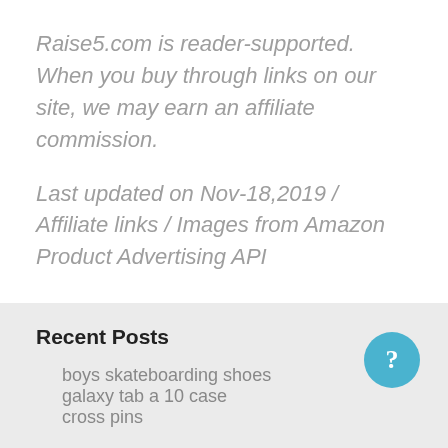Raise5.com is reader-supported. When you buy through links on our site, we may earn an affiliate commission.
Last updated on Nov-18,2019 / Affiliate links / Images from Amazon Product Advertising API
Recent Posts
boys skateboarding shoes
galaxy tab a 10 case
cross pins